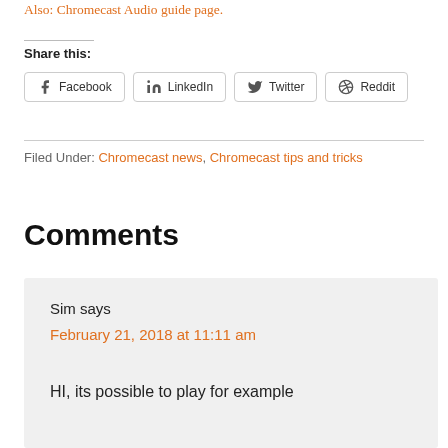Also: Chromecast Audio guide page.
Share this:
Facebook
LinkedIn
Twitter
Reddit
Filed Under: Chromecast news, Chromecast tips and tricks
Comments
Sim says
February 21, 2018 at 11:11 am

HI, its possible to play for example